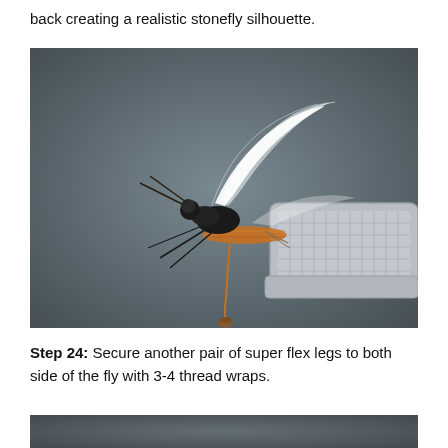back creating a realistic stonefly silhouette.
[Figure (photo): Close-up photo of a stonefly fly fishing lure held in a vise/tool. The fly features white feathery wings on top, a black textured body with orange thread wrapping, black antennae/legs extending from the sides, and is secured in a silver knurled metal vise tool. The background is dark grey.]
Step 24: Secure another pair of super flex legs to both side of the fly with 3-4 thread wraps.
[Figure (photo): Partial photo showing the beginning of the next step, dark grey background visible.]